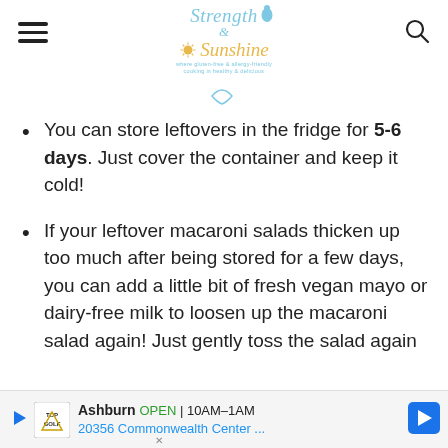Strength & Sunshine - where gluten-free & allergy-friendly cooking is healthy & delicious
You can store leftovers in the fridge for 5-6 days. Just cover the container and keep it cold!
If your leftover macaroni salads thicken up too much after being stored for a few days, you can add a little bit of fresh vegan mayo or dairy-free milk to loosen up the macaroni salad again! Just gently toss the salad again be...
[Figure (other): Advertisement banner for Topgolf Ashburn showing OPEN 10AM-1AM, 20356 Commonwealth Center... with navigation arrow icon]